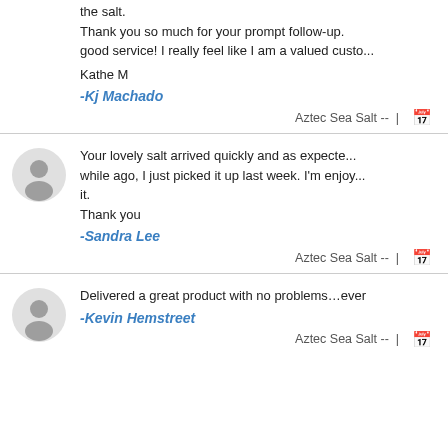the salt.
Thank you so much for your prompt follow-up. good service! I really feel like I am a valued custo...
Kathe M
-Kj Machado
Aztec Sea Salt --  |  🗓
Your lovely salt arrived quickly and as expected while ago, I just picked it up last week. I'm enjoy it.
Thank you
-Sandra Lee
Aztec Sea Salt --  |  🗓
Delivered a great product with no problems…ever
-Kevin Hemstreet
Aztec Sea Salt --  |  🗓